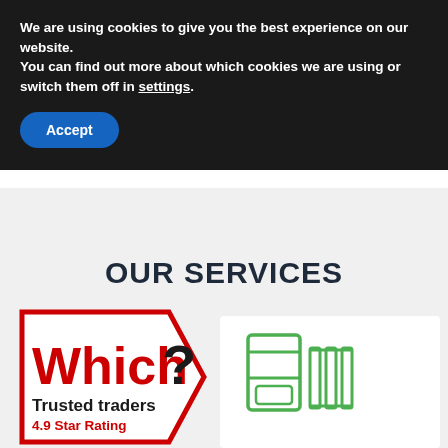We are using cookies to give you the best experience on our website.
You can find out more about which cookies we are using or switch them off in settings.
Accept
OUR SERVICES
[Figure (logo): Which? Trusted traders badge with 4.9 Star Rating — hexagonal red-outlined badge with 'Which?' in red bold text and '?' in black, 'Trusted traders' in bold black, '4.9 Star Rating' in red]
[Figure (illustration): Green line icon of a boiler/radiator heating system]